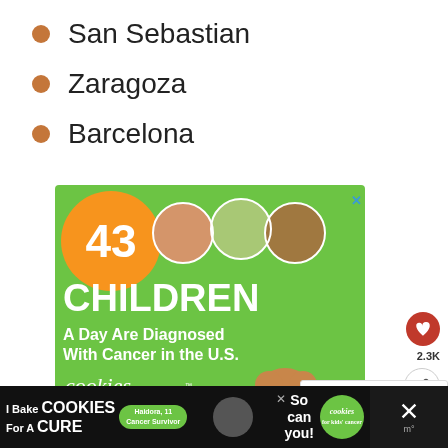San Sebastian
Zaragoza
Barcelona
[Figure (screenshot): Advertisement for 'cookies for kids cancer' showing '43 CHILDREN A Day Are Diagnosed With Cancer in the U.S.' with three children's photos and a cookie graphic, on a green background with orange circle and 'Let's Go Baking' text]
[Figure (screenshot): Bottom banner advertisement for 'I Bake COOKIES For A CURE' with Haidora cancer survivor, on dark background with green cookies for kids cancer logo]